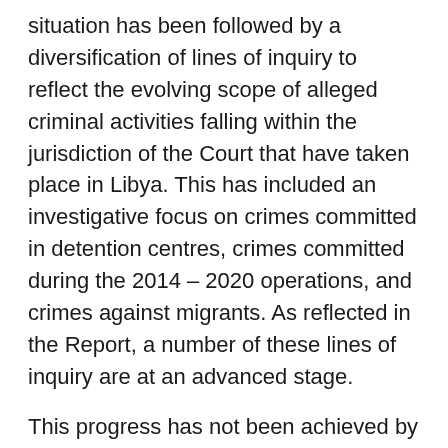situation has been followed by a diversification of lines of inquiry to reflect the evolving scope of alleged criminal activities falling within the jurisdiction of the Court that have taken place in Libya. This has included an investigative focus on crimes committed in detention centres, crimes committed during the 2014 – 2020 operations, and crimes against migrants. As reflected in the Report, a number of these lines of inquiry are at an advanced stage.
This progress has not been achieved by the Office in isolation. Partnerships with victims and their families, non-governmental organisations and national authorities have been critical in advancing investigative work in this situation. The effective cooperation of third States has also been central to progress made, including significant assistance provided by Tunisia, Italy, The Netherlands, the United Kingdom, Ireland and Europol.